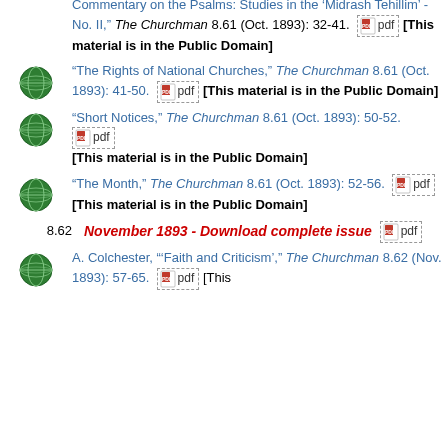Commentary on the Psalms: Studies in the 'Midrash Tehillim' - No. II," The Churchman 8.61 (Oct. 1893): 32-41. [pdf] [This material is in the Public Domain]
"The Rights of National Churches," The Churchman 8.61 (Oct. 1893): 41-50. [pdf] [This material is in the Public Domain]
"Short Notices," The Churchman 8.61 (Oct. 1893): 50-52. [pdf] [This material is in the Public Domain]
"The Month," The Churchman 8.61 (Oct. 1893): 52-56. [pdf] [This material is in the Public Domain]
8.62  November 1893 - Download complete issue [pdf]
A. Colchester, "'Faith and Criticism,'" The Churchman 8.62 (Nov. 1893): 57-65. [pdf] [This